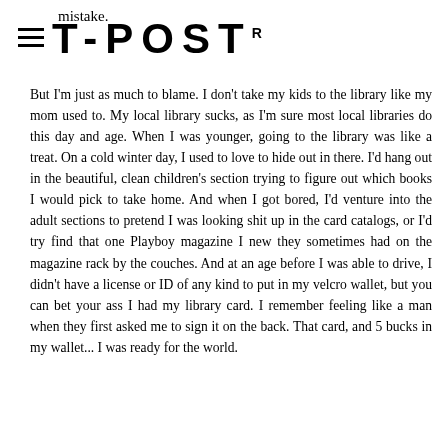mistake.
T-POST®
But I'm just as much to blame. I don't take my kids to the library like my mom used to. My local library sucks, as I'm sure most local libraries do this day and age. When I was younger, going to the library was like a treat. On a cold winter day, I used to love to hide out in there. I'd hang out in the beautiful, clean children's section trying to figure out which books I would pick to take home. And when I got bored, I'd venture into the adult sections to pretend I was looking shit up in the card catalogs, or I'd try find that one Playboy magazine I new they sometimes had on the magazine rack by the couches. And at an age before I was able to drive, I didn't have a license or ID of any kind to put in my velcro wallet, but you can bet your ass I had my library card. I remember feeling like a man when they first asked me to sign it on the back. That card, and 5 bucks in my wallet... I was ready for the world.